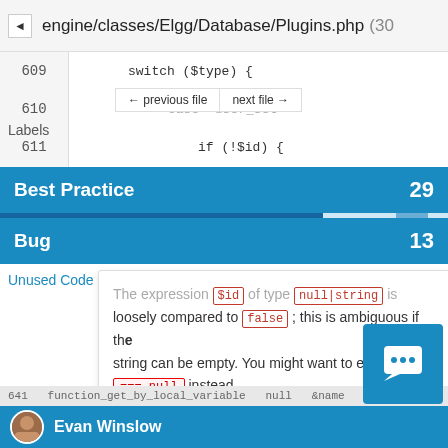engine/classes/Elgg/Database/Plugins.php (30 issues)
[Figure (screenshot): Code editor showing PHP file with line numbers 609-614, including switch ($type) {, case 'user_set':, if (!$id) {, throw ne, }, $name = ELGG_PLU lines]
← previous file    next file →
Labels
Best Practice    29
Bug    13
Unused Code
The expression $id of type null|string is loosely compared to false ; this is ambiguous if the string can be empty. You might want to explicitly use === null instead.
Severity
Major    7
Minor    23
Introduced By
* @return array|false
* @access private
Evan Winslow